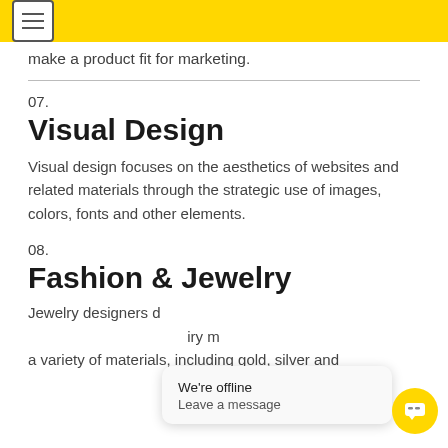make a product fit for marketing.
07.
Visual Design
Visual design focuses on the aesthetics of websites and related materials through the strategic use of images, colors, fonts and other elements.
08.
Fashion & Jewelry
Jewelry designers design jewelry made from a variety of materials, including gold, silver and